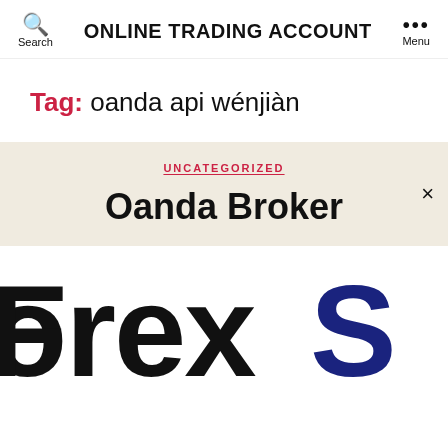ONLINE TRADING ACCOUNT
Tag: oanda api wénjiàn
UNCATEGORIZED
Oanda Broker
[Figure (logo): Partial logo showing 'ForexS' in large bold text, with 'Forex' in black and 'S' in dark navy blue]